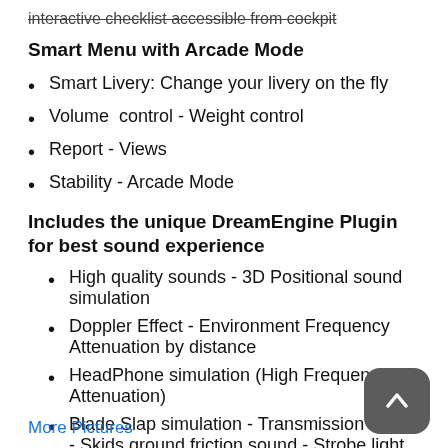Interactive checklist accessible from cockpit
Smart Menu with Arcade Mode
Smart Livery: Change your livery on the fly
Volume  control - Weight control
Report - Views
Stability - Arcade Mode
Includes the unique DreamEngine Plugin for best sound experience
High quality sounds - 3D Positional sound simulation
Doppler Effect - Environment Frequency Attenuation by distance
HeadPhone simulation (High Frequencies Attenuation)
Blade Slap simulation - Transmission sound - Skids ground friction sound - Strobe light sound
More Pictures